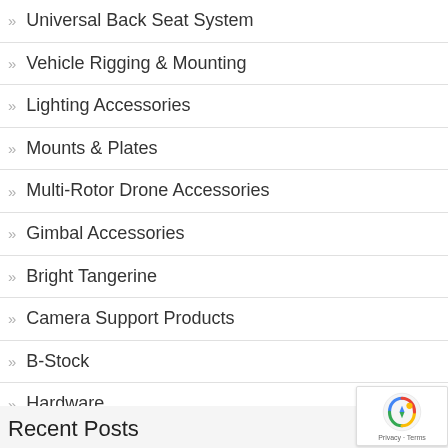Universal Back Seat System
Vehicle Rigging & Mounting
Lighting Accessories
Mounts & Plates
Multi-Rotor Drone Accessories
Gimbal Accessories
Bright Tangerine
Camera Support Products
B-Stock
Hardware
Soft Goods
Recent Posts